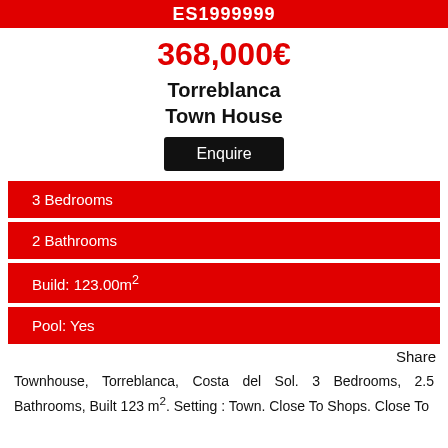ES1999999
368,000€
Torreblanca Town House
Enquire
3 Bedrooms
2 Bathrooms
Build: 123.00m²
Pool: Yes
Share
Townhouse, Torreblanca, Costa del Sol. 3 Bedrooms, 2.5 Bathrooms, Built 123 m². Setting : Town. Close To Shops. Close To